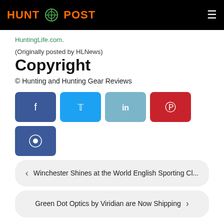HUNT POST
HuntingLife.com.
(Originally posted by HLNews)
Copyright
© Hunting and Hunting Gear Reviews
[Figure (other): Social share buttons: Facebook, Twitter, LinkedIn, Pinterest, Reddit]
Winchester Shines at the World English Sporting Cl...
Green Dot Optics by Viridian are Now Shipping